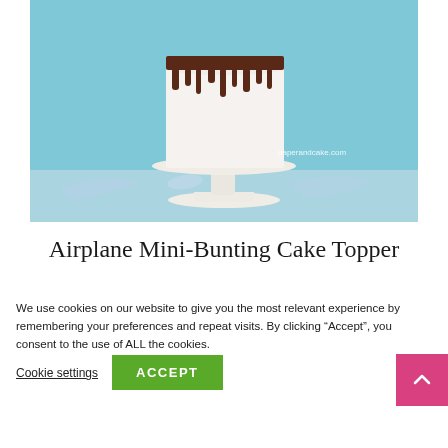[Figure (photo): A white cake with chocolate drip on a white cake stand, against a light blue background, with curled light blue ribbon on the surface below. Watermark text reads 'paperandcake.com'.]
Airplane Mini-Bunting Cake Topper
We use cookies on our website to give you the most relevant experience by remembering your preferences and repeat visits. By clicking “Accept”, you consent to the use of ALL the cookies.
Cookie settings   ACCEPT